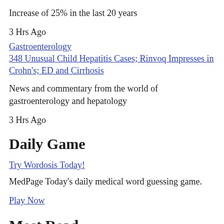Increase of 25% in the last 20 years
3 Hrs Ago
Gastroenterology
348 Unusual Child Hepatitis Cases; Rinvoq Impresses in Crohn's; ED and Cirrhosis
News and commentary from the world of gastroenterology and hepatology
3 Hrs Ago
Daily Game
Try Wordosis Today!
MedPage Today's daily medical word guessing game.
Play Now
Most Read
FDA Severely Limits Use of J&J COVID Shot
Columbia University Finally Scrubs Relationship With Dr. Oz